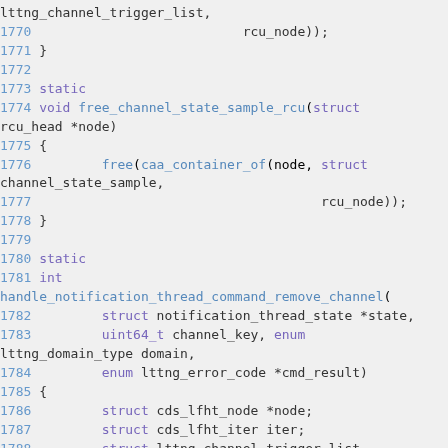[Figure (screenshot): Source code listing showing C code lines 1770-1788 with syntax highlighting. Line numbers in blue, keywords in purple, function names in blue.]